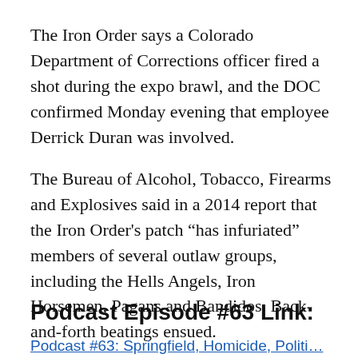The Iron Order says a Colorado Department of Corrections officer fired a shot during the expo brawl, and the DOC confirmed Monday evening that employee Derrick Duran was involved.
The Bureau of Alcohol, Tobacco, Firearms and Explosives said in a 2014 report that the Iron Order's patch “has infuriated” members of several outlaw groups, including the Hells Angels, Iron Horsemen, Pagans and Bandidos. Back-and-forth beatings ensued.
Podcast Episode #63 Link:
Podcast #63: Springfield, Homicide, Politi...